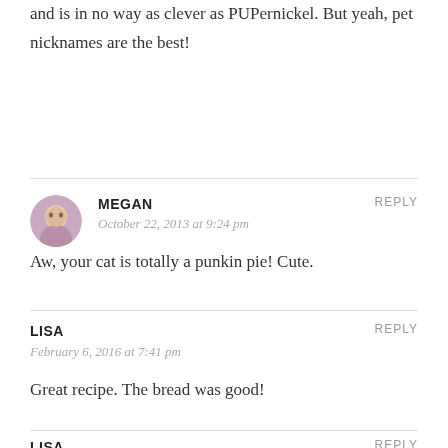and is in no way as clever as PUPernickel. But yeah, pet nicknames are the best!
MEGAN
October 22, 2013 at 9:24 pm
REPLY
Aw, your cat is totally a punkin pie! Cute.
LISA
February 6, 2016 at 7:41 pm
REPLY
Great recipe. The bread was good!
LISA
REPLY